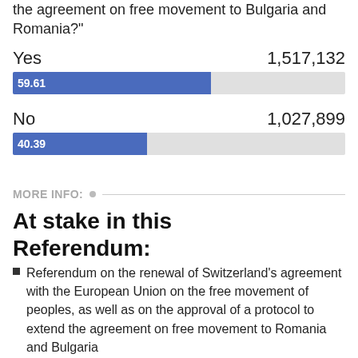the agreement on free movement to Bulgaria and Romania?"
[Figure (bar-chart): Referendum vote results]
At stake in this Referendum:
Referendum on the renewal of Switzerland's agreement with the European Union on the free movement of peoples, as well as on the approval of a protocol to extend the agreement on free movement to Romania and Bulgaria